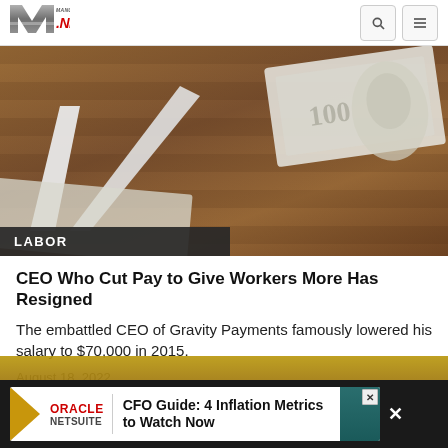[Figure (logo): Manufacturing.net logo with stylized M and red NET text, plus search and menu icons]
[Figure (photo): Close-up photo of scissors cutting US dollar bills on a wooden table background]
LABOR
CEO Who Cut Pay to Give Workers More Has Resigned
The embattled CEO of Gravity Payments famously lowered his salary to $70,000 in 2015.
August 18, 2022
[Figure (screenshot): Oracle NetSuite advertisement banner: CFO Guide: 4 Inflation Metrics to Watch Now]